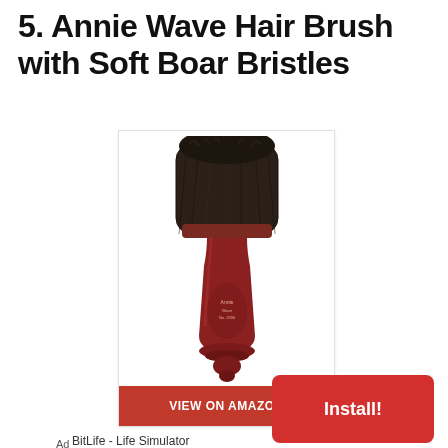5. Annie Wave Hair Brush with Soft Boar Bristles
[Figure (photo): Annie Wave Hair Brush with soft boar bristles — a hair brush with dark brown/black bristles on top and a dark red wooden handle, viewed from above. A red 'VIEW ON AMAZON' button is overlaid at the bottom of the image.]
BitLife - Life Simulator
Ad
[Figure (other): Red 'Install!' button for BitLife - Life Simulator app ad]